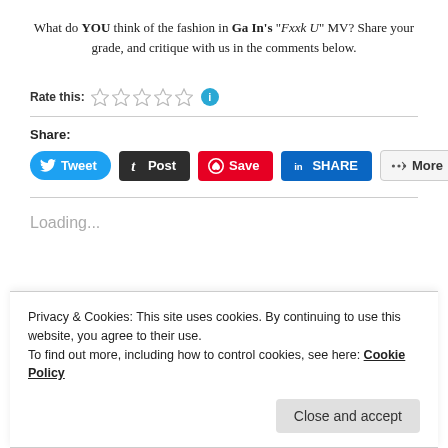What do YOU think of the fashion in Ga In's "Fxxk U" MV? Share your grade, and critique with us in the comments below.
Rate this: ☆☆☆☆☆ ℹ
Share:
[Figure (screenshot): Social share buttons: Tweet, Post, Save, SHARE, More]
Loading...
Privacy & Cookies: This site uses cookies. By continuing to use this website, you agree to their use. To find out more, including how to control cookies, see here: Cookie Policy
Close and accept